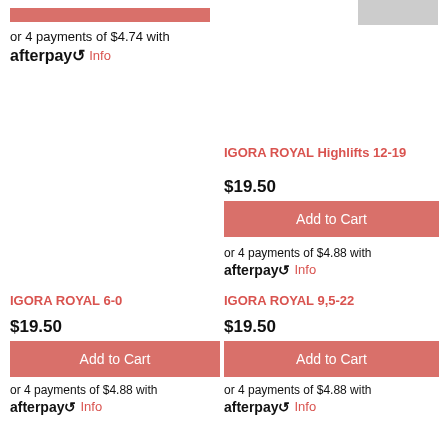or 4 payments of $4.74 with afterpay Info
IGORA ROYAL Highlifts 12-19
$19.50
Add to Cart
or 4 payments of $4.88 with afterpay Info
IGORA ROYAL 6-0
$19.50
Add to Cart
or 4 payments of $4.88 with afterpay Info
IGORA ROYAL 9,5-22
$19.50
Add to Cart
or 4 payments of $4.88 with afterpay Info